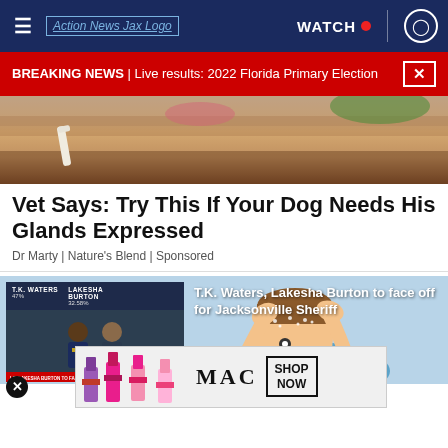≡  Action News Jax Logo  WATCH 🔴  👤
BREAKING NEWS | Live results: 2022 Florida Primary Election
[Figure (photo): Close-up photo of a dog being examined, showing fur and a white stick/instrument near the dog's face]
Vet Says: Try This If Your Dog Needs His Glands Expressed
Dr Marty | Nature's Blend | Sponsored
[Figure (screenshot): Composite image: cartoon illustration of a person scratching their head with dandruff, overlaid with a TV news video thumbnail showing T.K. Waters (47%) and Lakesha Burton (32.58%) election results. Headline overlay reads: T.K. Waters, Lakesha Burton to face off for Jacksonville Sheriff. A MAC cosmetics advertisement banner at the bottom showing lipsticks with SHOP NOW button.]